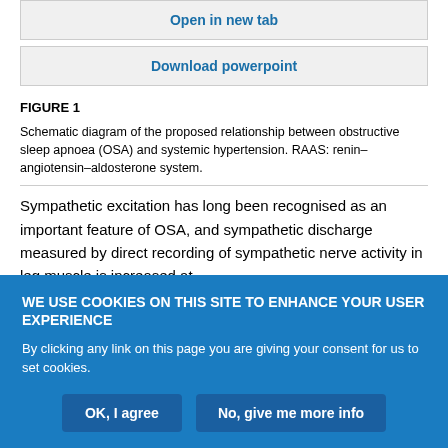Open in new tab
Download powerpoint
FIGURE 1
Schematic diagram of the proposed relationship between obstructive sleep apnoea (OSA) and systemic hypertension. RAAS: renin–angiotensin–aldosterone system.
Sympathetic excitation has long been recognised as an important feature of OSA, and sympathetic discharge measured by direct recording of sympathetic nerve activity in leg muscle is increased at
WE USE COOKIES ON THIS SITE TO ENHANCE YOUR USER EXPERIENCE
By clicking any link on this page you are giving your consent for us to set cookies.